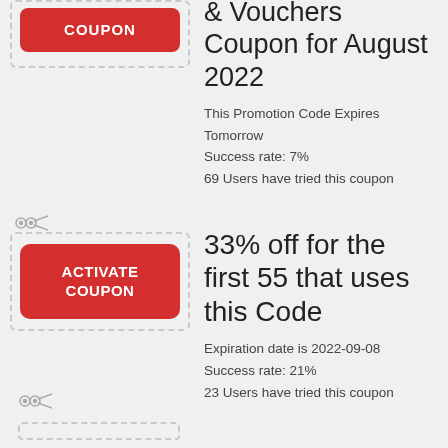[Figure (illustration): Red activate coupon button inside a dashed border box with scissors icon at top-left corner, partially cut off at top]
& Vouchers Coupon for August 2022
This Promotion Code Expires Tomorrow
Success rate: 7%
69 Users have tried this coupon
[Figure (illustration): Red ACTIVATE COUPON button inside a dashed border box with scissors icon at top-left corner]
33% off for the first 55 that uses this Code
Expiration date is 2022-09-08
Success rate: 21%
23 Users have tried this coupon
[Figure (illustration): Scissors icon at bottom, partially visible, with dashed border box beginning]